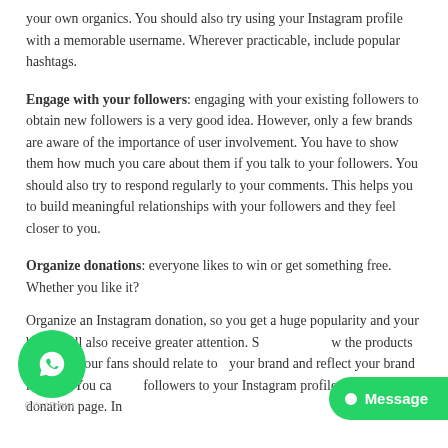your own organics. You should also try using your Instagram profile with a memorable username. Wherever practicable, include popular hashtags.
Engage with your followers: engaging with your existing followers to obtain new followers is a very good idea. However, only a few brands are aware of the importance of user involvement. You have to show them how much you care about them if you talk to your followers. You should also try to respond regularly to your comments. This helps you to build meaningful relationships with your followers and they feel closer to you.
Organize donations: everyone likes to win or get something free. Whether you like it?
Organize an Instagram donation, so you get a huge popularity and your brand will also receive greater attention. Show the products you give your fans should relate to your brand and reflect your brand identity. You can followers to your Instagram profile on your donation page. In